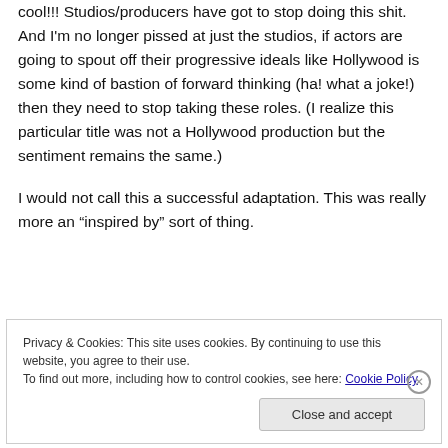cool!!! Studios/producers have got to stop doing this shit. And I'm no longer pissed at just the studios, if actors are going to spout off their progressive ideals like Hollywood is some kind of bastion of forward thinking (ha! what a joke!) then they need to stop taking these roles. (I realize this particular title was not a Hollywood production but the sentiment remains the same.)

I would not call this a successful adaptation. This was really more an “inspired by” sort of thing.
Privacy & Cookies: This site uses cookies. By continuing to use this website, you agree to their use.
To find out more, including how to control cookies, see here: Cookie Policy
Close and accept